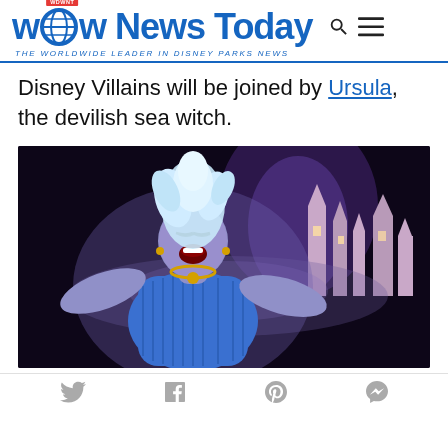WDW News Today — THE WORLDWIDE LEADER IN DISNEY PARKS NEWS
Disney Villains will be joined by Ursula, the devilish sea witch.
[Figure (photo): Performer dressed as Ursula the sea witch in blue sequined dress with white hair, arms outstretched, singing/performing in front of a lit Disneyland castle at night with purple-tinted fountain behind.]
Social share icons: Twitter, Facebook, Pinterest, Messenger